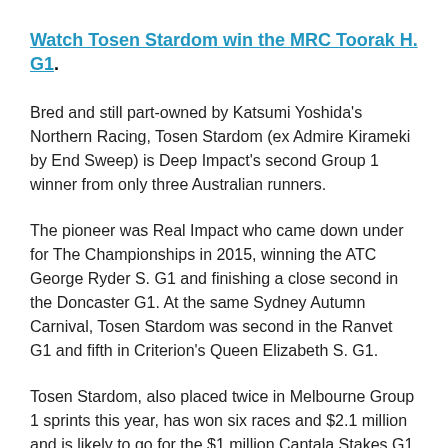Watch Tosen Stardom win the MRC Toorak H. G1.
Bred and still part-owned by Katsumi Yoshida's Northern Racing, Tosen Stardom (ex Admire Kirameki by End Sweep) is Deep Impact's second Group 1 winner from only three Australian runners.
The pioneer was Real Impact who came down under for The Championships in 2015, winning the ATC George Ryder S. G1 and finishing a close second in the Doncaster G1. At the same Sydney Autumn Carnival, Tosen Stardom was second in the Ranvet G1 and fifth in Criterion's Queen Elizabeth S. G1.
Tosen Stardom, also placed twice in Melbourne Group 1 sprints this year, has won six races and $2.1 million and is likely to go for the $1 million Cantala Stakes G1, now known as the Kennedy Mile, on the last day of